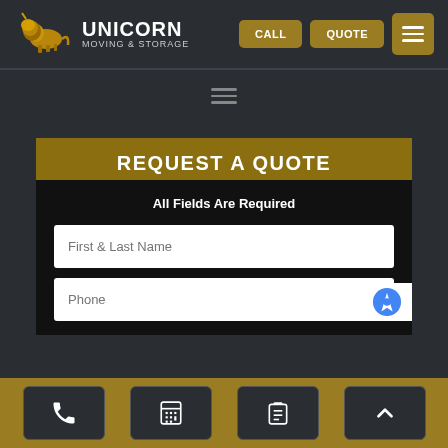[Figure (logo): Unicorn Moving & Storage logo with lion/unicorn image and white text]
CALL
QUOTE
REQUEST A QUOTE
All Fields Are Required
First & Last Name
Phone